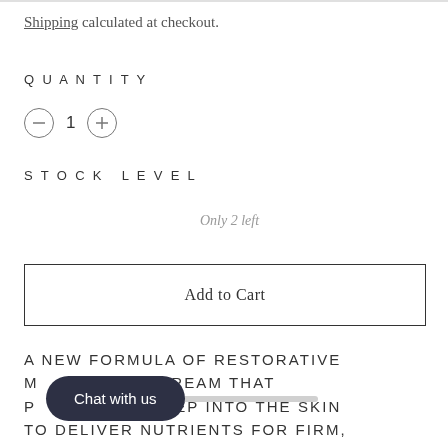Shipping calculated at checkout.
QUANTITY
⊖  1  ⊕
STOCK LEVEL
Only 2 left
Add to Cart
A NEW FORMULA OF RESTORATIVE M...NG CREAM THAT R... DEEP INTO THE SKIN TO DELIVER NUTRIENTS FOR FIRM, SUPPLE AND SILKY SKIN
Chat with us